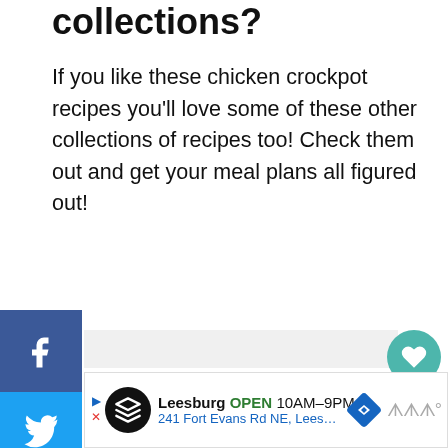collections?
If you like these chicken crockpot recipes you'll love some of these other collections of recipes too! Check them out and get your meal plans all figured out!
[Figure (infographic): Social media sharing sidebar with Facebook, Twitter, Pinterest, and Email buttons]
[Figure (infographic): Right-side floating heart button with count 25 and share button]
[Figure (infographic): Ad banner for Leesburg store, OPEN 10AM-9PM, 241 Fort Evans Rd NE, Leesb...]